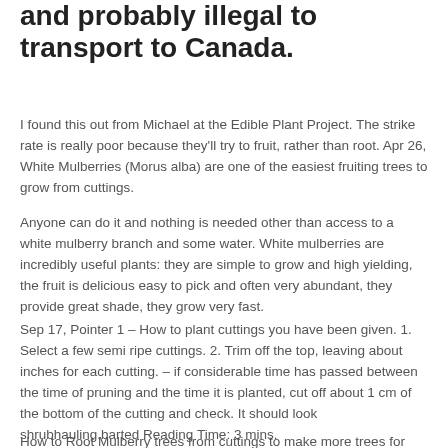and probably illegal to transport to Canada.
I found this out from Michael at the Edible Plant Project. The strike rate is really poor because they'll try to fruit, rather than root. Apr 26, White Mulberries (Morus alba) are one of the easiest fruiting trees to grow from cuttings.
Anyone can do it and nothing is needed other than access to a white mulberry branch and some water. White mulberries are incredibly useful plants: they are simple to grow and high yielding, the fruit is delicious easy to pick and often very abundant, they provide great shade, they grow very fast.
Sep 17, Pointer 1 – How to plant cuttings you have been given. 1. Select a few semi ripe cuttings. 2. Trim off the top, leaving about inches for each cutting. – if considerable time has passed between the time of pruning and the time it is planted, cut off about 1 cm of the bottom of the cutting and check. It should look shrubhauling.barted Reading Time: 3 mins.
How to Root Mulberry trees from cuttings to make more trees for